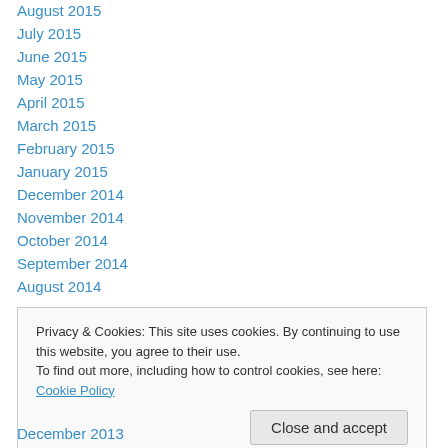August 2015
July 2015
June 2015
May 2015
April 2015
March 2015
February 2015
January 2015
December 2014
November 2014
October 2014
September 2014
August 2014
Privacy & Cookies: This site uses cookies. By continuing to use this website, you agree to their use. To find out more, including how to control cookies, see here: Cookie Policy
Close and accept
December 2013